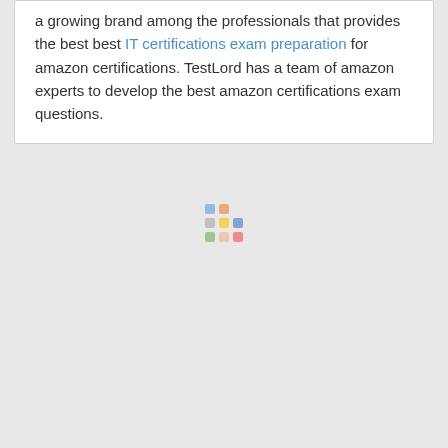a growing brand among the professionals that provides the best best IT certifications exam preparation for amazon certifications. TestLord has a team of amazon experts to develop the best amazon certifications exam questions.
[Figure (other): Loading spinner represented as a 3x3 grid of colored dots in blue, orange, gray, yellow, and red tones]